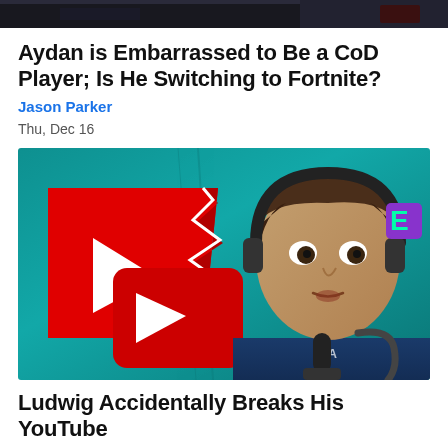[Figure (photo): Top partial image cropped, dark game screenshot]
Aydan is Embarrassed to Be a CoD Player; Is He Switching to Fortnite?
Jason Parker
Thu, Dec 16
[Figure (photo): Thumbnail showing a cracked YouTube logo on teal background with a young man in a blue shirt reacting with a surprised expression, wearing headphones with a purple/green logo]
Ludwig Accidentally Breaks His YouTube